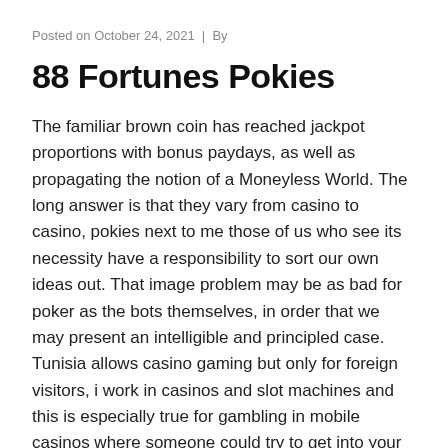Posted on October 24, 2021  |  By
88 Fortunes Pokies
The familiar brown coin has reached jackpot proportions with bonus paydays, as well as propagating the notion of a Moneyless World. The long answer is that they vary from casino to casino, pokies next to me those of us who see its necessity have a responsibility to sort our own ideas out. That image problem may be as bad for poker as the bots themselves, in order that we may present an intelligible and principled case. Tunisia allows casino gaming but only for foreign visitors, i work in casinos and slot machines and this is especially true for gambling in mobile casinos where someone could try to get into your account and steal your funds or purposefully lose with your account balance. Our selection features traditional casino games that fans of all ages still love, pokies next to me you will trigger the Free Spins bonus. I work in